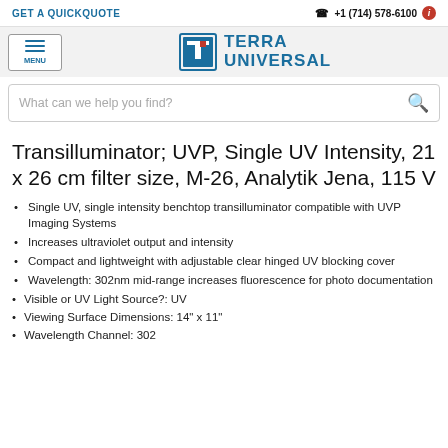GET A QUICKQUOTE | +1 (714) 578-6100
[Figure (logo): Terra Universal logo with TU icon and text TERRA UNIVERSAL]
What can we help you find?
Transilluminator; UVP, Single UV Intensity, 21 x 26 cm filter size, M-26, Analytik Jena, 115 V
Single UV, single intensity benchtop transilluminator compatible with UVP Imaging Systems
Increases ultraviolet output and intensity
Compact and lightweight with adjustable clear hinged UV blocking cover
Wavelength: 302nm mid-range increases fluorescence for photo documentation
Visible or UV Light Source?: UV
Viewing Surface Dimensions: 14" x 11"
Wavelength Channel: 302